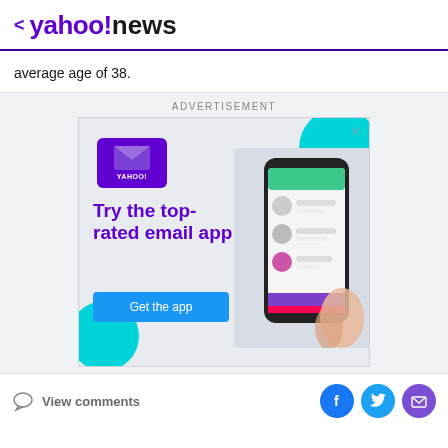< yahoo!news
average age of 38.
[Figure (other): Yahoo News advertisement banner promoting Yahoo Mail app — 'Try the top-rated email app' with a 'Get the app' button, Yahoo Mail icon, and a phone showing the app interface. Cyan decorative arcs in corners.]
View comments | Facebook, Twitter, Mail social share icons